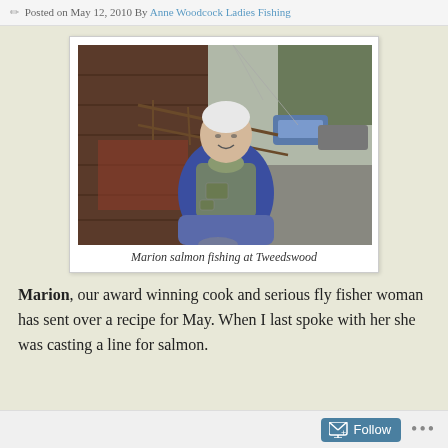Posted on May 12, 2010 By Anne Woodcock Ladies Fishing
[Figure (photo): An elderly woman with white hair wearing a blue fleece and fishing vest/tackle vest, smiling, standing outdoors near a wooden railing and building, with cars visible in the background. Outdoor scene, overcast day.]
Marion salmon fishing at Tweedswood
Marion, our award winning cook and serious fly fisher woman has sent over a recipe for May. When I last spoke with her she was casting a line for salmon.
Follow ...